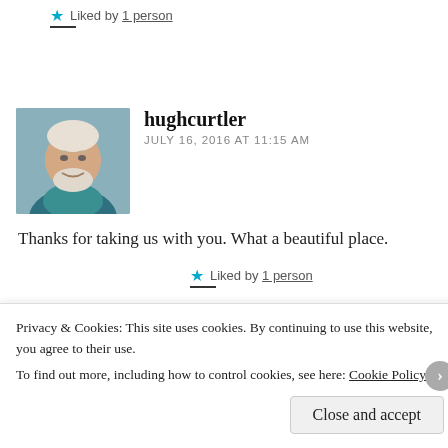Liked by 1 person
[Figure (photo): Avatar photo of hughcurtler, an older man with white hair and beard, smiling, wearing a teal jacket]
hughcurtler
JULY 16, 2016 AT 11:15 AM
Thanks for taking us with you. What a beautiful place.
Liked by 1 person
Privacy & Cookies: This site uses cookies. By continuing to use this website, you agree to their use.
To find out more, including how to control cookies, see here: Cookie Policy